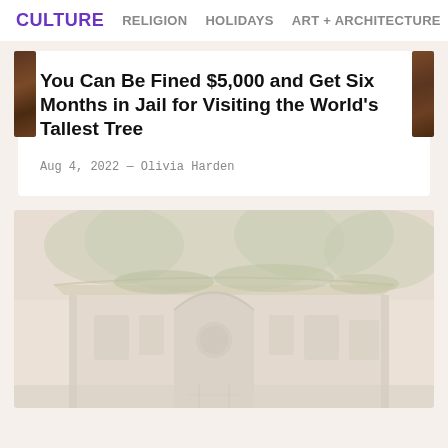CULTURE   RELIGION   HOLIDAYS   ART + ARCHITECTURE
You Can Be Fined $5,000 and Get Six Months in Jail for Visiting the World's Tallest Tree
Aug 4, 2022 — Olivia Harden
[Figure (photo): Faded/washed-out photo of a historic stone building with arched entrance and trees with foliage overhanging the roof]